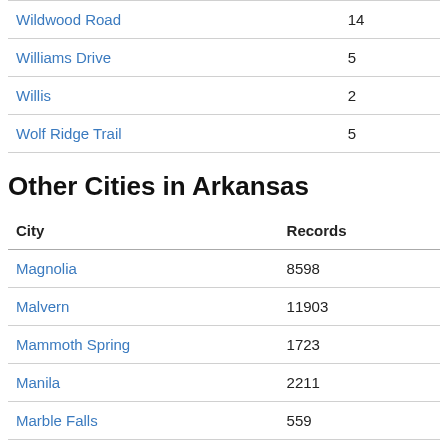|  |  |
| --- | --- |
| Wildwood Road | 14 |
| Williams Drive | 5 |
| Willis | 2 |
| Wolf Ridge Trail | 5 |
Other Cities in Arkansas
| City | Records |
| --- | --- |
| Magnolia | 8598 |
| Malvern | 11903 |
| Mammoth Spring | 1723 |
| Manila | 2211 |
| Marble Falls | 559 |